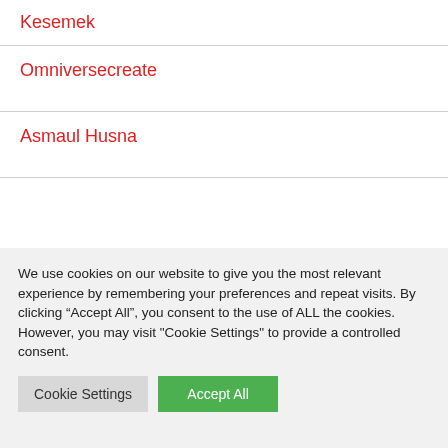Kesemek
Omniversecreate
Asmaul Husna
We use cookies on our website to give you the most relevant experience by remembering your preferences and repeat visits. By clicking “Accept All”, you consent to the use of ALL the cookies. However, you may visit "Cookie Settings" to provide a controlled consent.